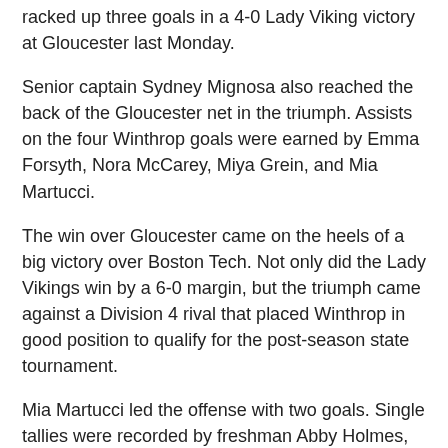racked up three goals in a 4-0 Lady Viking victory at Gloucester last Monday.
Senior captain Sydney Mignosa also reached the back of the Gloucester net in the triumph. Assists on the four Winthrop goals were earned by Emma Forsyth, Nora McCarey, Miya Grein, and Mia Martucci.
The win over Gloucester came on the heels of a big victory over Boston Tech. Not only did the Lady Vikings win by a 6-0 margin, but the triumph came against a Division 4 rival that placed Winthrop in good position to qualify for the post-season state tournament.
Mia Martucci led the offense with two goals. Single tallies were recorded by freshman Abby Holmes, freshman Emma Holmes, junior Grace Galuris, and Maura Dorr, with assists by Alex Gibbons (2), Mia Martucci, and Julia Marcoccio.
Martucci also had words of praise for the Lady Vikings' sophomore keeper,  Manuela Mejia.